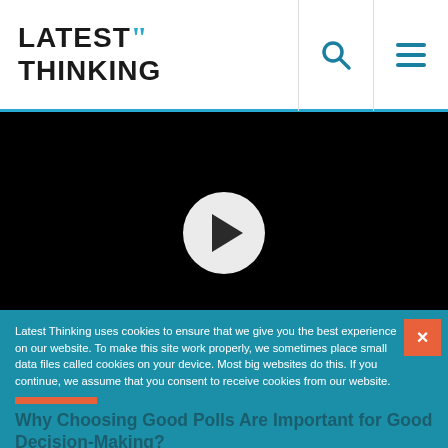LATEST THINKING
[Figure (screenshot): Black video thumbnail with a white circular play button in the center]
Latest Thinking uses cookies to ensure that we give you the best experience on our website. To make this site work properly, we sometimes place small data files called cookies on your device. Most big websites do this. If you continue, we assume that you consent to receive cookies from our website.
Got it!
Why Choosing Good Polls Are Important for Good Decision-Making?